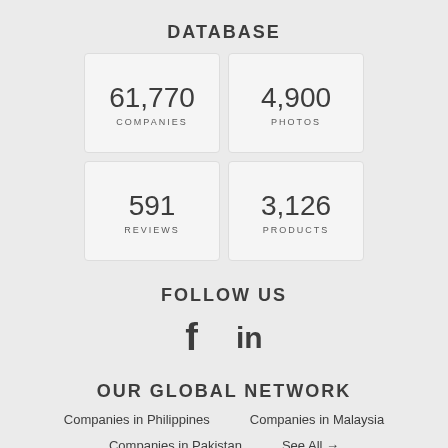DATABASE
[Figure (infographic): 2x2 grid of stat cards showing: 61,770 COMPANIES, 4,900 PHOTOS, 591 REVIEWS, 3,126 PRODUCTS]
FOLLOW US
[Figure (infographic): Facebook and LinkedIn social media icons]
OUR GLOBAL NETWORK
Companies in Philippines
Companies in Malaysia
Companies in Pakistan
See All →